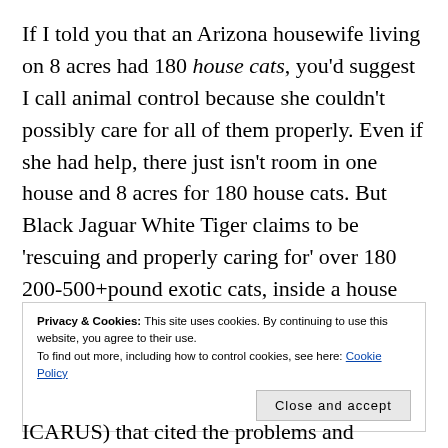If I told you that an Arizona housewife living on 8 acres had 180 house cats, you'd suggest I call animal control because she couldn't possibly care for all of them properly. Even if she had help, there just isn't room in one house and 8 acres for 180 house cats. But Black Jaguar White Tiger claims to be 'rescuing and properly caring for' over 180 200-500+pound exotic cats, inside a house that's lived in by humans, and with just 8 acres of land. Yet, the praise and hero-worship continues in
Privacy & Cookies: This site uses cookies. By continuing to use this website, you agree to their use.
To find out more, including how to control cookies, see here: Cookie Policy
[Close and accept]
ICARUS) that cited the problems and misplaced trust in